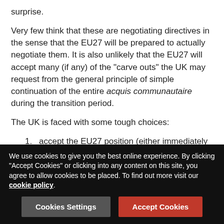surprise.
Very few think that these are negotiating directives in the sense that the EU27 will be prepared to actually negotiate them. It is also unlikely that the EU27 will accept many (if any) of the "carve outs" the UK may request from the general principle of simple continuation of the entire acquis communautaire during the transition period.
The UK is faced with some tough choices:
accept the EU27 position (either immediately or after demonstrating token resistance for a few weeks),
walk out of the talks, or
seek to extend the time period under Article 50.
Option one is politically challenging for the UK government
We use cookies to give you the best online experience. By clicking "Accept Cookies" or clicking into any content on this site, you agree to allow cookies to be placed. To find out more visit our cookie policy.